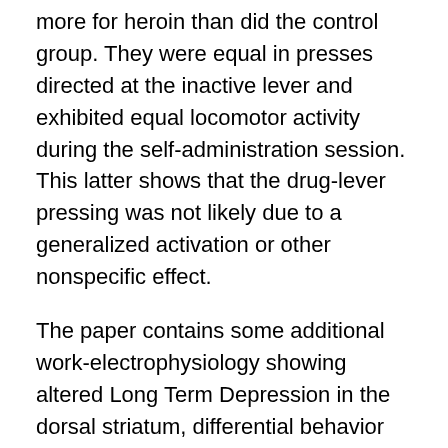more for heroin than did the control group. They were equal in presses directed at the inactive lever and exhibited equal locomotor activity during the self-administration session. This latter shows that the drug-lever pressing was not likely due to a generalized activation or other nonspecific effect.
The paper contains some additional work-electrophysiology showing altered Long Term Depression in the dorsal striatum, differential behavior during heroin withdrawal and alterations in glutamate and dopamine-related gene expression. I'll let you read the details for yourself.
But the implications here are stunning and much more work needs to be completed post-haste.
We've known for some time (centuries?) that substance